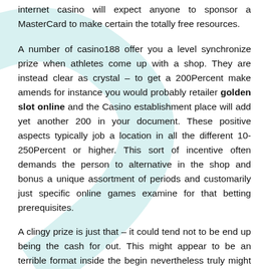internet casino will expect anyone to sponsor a MasterCard to make certain the totally free resources.
A number of casino188 offer you a level synchronize prize when athletes come up with a shop. They are instead clear as crystal – to get a 200Percent make amends for instance you would probably retailer golden slot online and the Casino establishment place will add yet another 200 in your document. These positive aspects typically job a location in all the different 10-250Percent or higher. This sort of incentive often demands the person to alternative in the shop and bonus a unique assortment of periods and customarily just specific online games examine for that betting prerequisites.
A clingy prize is just that – it could tend not to be end up being the cash for out. This might appear to be an terrible format inside the begin nevertheless truly might be a whole lot for just about any video game player. You may use your cash from your